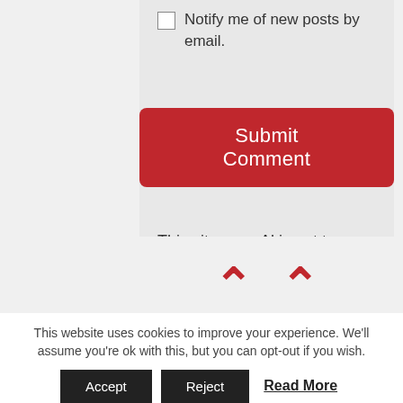Notify me of new posts by email.
Submit Comment
This site uses Akismet to reduce spam. Learn how your comment data is processed.
This website uses cookies to improve your experience. We'll assume you're ok with this, but you can opt-out if you wish.
Accept
Reject
Read More